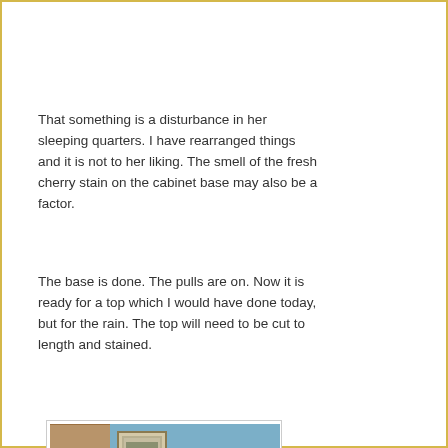That something is a disturbance in her sleeping quarters. I have rearranged things and it is not to her liking. The smell of the fresh cherry stain on the cabinet base may also be a factor.
The base is done. The pulls are on. Now it is ready for a top which I would have done today, but for the rain. The top will need to be cut to length and stained.
[Figure (photo): Interior room photo showing a wooden cabinet base along a blue wall under a staircase, with a patterned armchair in the foreground and a framed picture on the wall.]